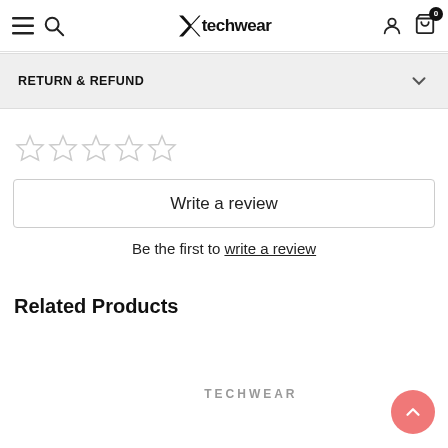Xtechwear — navigation bar with hamburger menu, search icon, logo, user icon, cart (0)
RETURN & REFUND
[Figure (other): Five empty star rating icons (0 out of 5 stars)]
Write a review
Be the first to write a review
Related Products
[Figure (other): TECHWEAR branded product placeholder area at the bottom of the page]
[Figure (other): Scroll-to-top pink/salmon circular button with upward arrow]